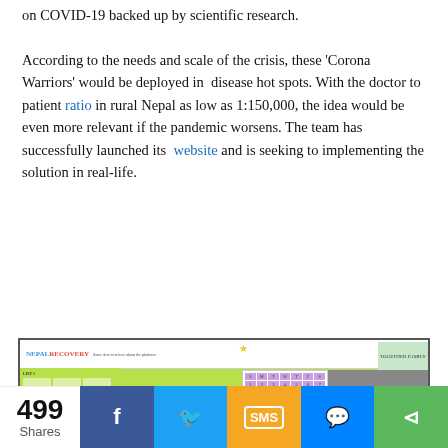on COVID-19 backed up by scientific research. According to the needs and scale of the crisis, these 'Corona Warriors' would be deployed in disease hot spots. With the doctor to patient ratio in rural Nepal as low as 1:150,000, the idea would be even more relevant if the pandemic worsens. The team has successfully launched its website and is seeking to implementing the solution in real-life.
[Figure (screenshot): Screenshot of the Nepal Recovery website showing a colorful dashboard with calendar, photo, colored category boxes, green table sections with community figures and activities.]
499 Shares — Facebook, Twitter, SMS, Messenger, Share buttons